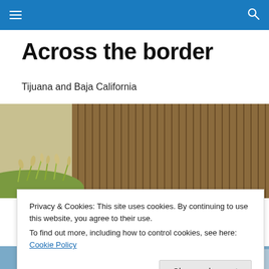Navigation bar with menu and search icons
Across the border
Tijuana and Baja California
[Figure (photo): A photograph of a border fence with tall rusted metal slats, with green grass and wild oat plants in the foreground.]
MONTHLY ARCHIVES: SEPTEMBER 2009
Privacy & Cookies: This site uses cookies. By continuing to use this website, you agree to their use.
To find out more, including how to control cookies, see here: Cookie Policy
Close and accept
[Figure (photo): Partial view of a second photograph at the bottom of the page, showing a blue sky and what appears to be a vehicle or structure.]